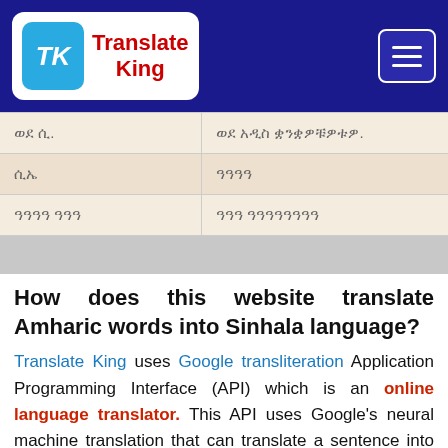Translate King
| ወደ ሲ. | ወደ አዲስ ቋንቋዎቹዎቱዎ. |
| ሲኤ | ዓዓዓዓ |
| ዓዓዓዓ ዓዓዓ | ዓዓዓ ዓዓዓዓዓዓዓዓ |
How does this website translate Amharic words into Sinhala language?
Translate King uses Google transliteration Application Programming Interface (API) which is an online language translator. This API uses Google's neural machine translation that can translate a sentence into 100+ languages. It is the most accurate and widely used tool among all other